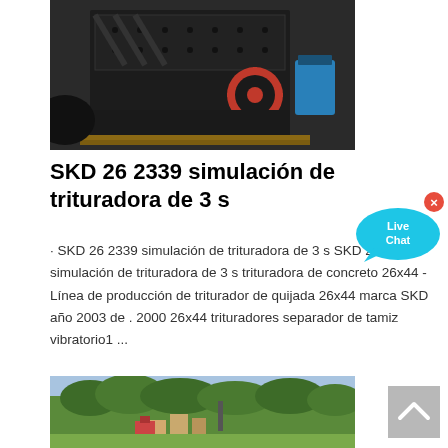[Figure (photo): Photo of a large black industrial impact crusher/jaw crusher machine with red flywheel, resting on wooden pallets in a factory/warehouse setting.]
SKD 26 2339 simulación de trituradora de 3 s
· SKD 26 2339 simulación de trituradora de 3 s SKD 26 2339 simulación de trituradora de 3 s trituradora de concreto 26x44 - Línea de producción de triturador de quijada 26x44 marca SKD año 2003 de . 2000 26x44 trituradores separador de tamiz vibratorio1 ...
[Figure (photo): Photo of industrial/mining equipment or landscape with trees and buildings in background.]